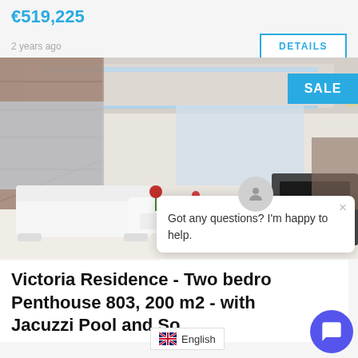€519,225
2 years ago
DETAILS
[Figure (photo): Interior of a luxury penthouse with white sofas, high ceilings with LED lighting, stone accent wall, large windows, chandelier, and red flower arrangements. SALE badge in top right corner.]
Got any questions? I'm happy to help.
Victoria Residence - Two bedro… Penthouse 803, 200 m2 - with Jacuzzi Pool and So…
English